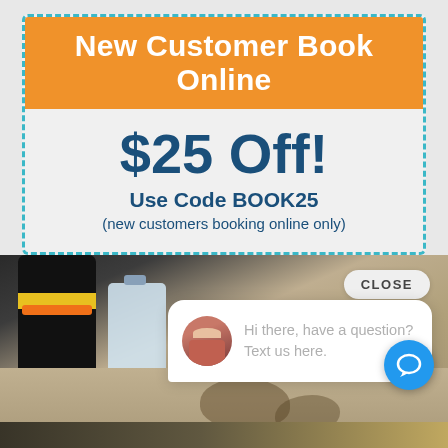New Customer Book Online
$25 Off!
Use Code BOOK25
(new customers booking online only)
[Figure (screenshot): Chat widget popup showing a woman's avatar with text 'Hi there, have a question? Text us here.' and a CLOSE button, overlaid on an image of carpet cleaning equipment and a stained carpet]
CLOSE
Hi there, have a question? Text us here.